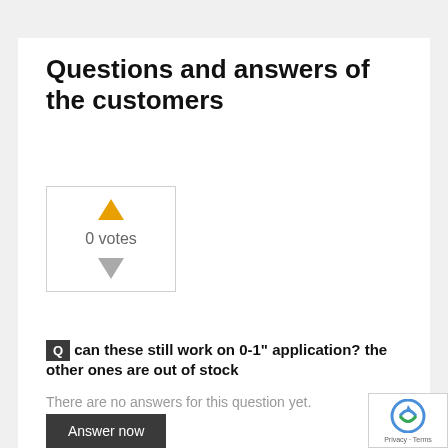Questions and answers of the customers
[Figure (other): Vote widget with upvote arrow (orange), '0 votes' text, and downvote arrow (gray) inside a bordered box]
Q   can these still work on 0-1" application? the other ones are out of stock
There are no answers for this question yet.
Answer now
Your question *
Do you have any questions? Ask now!